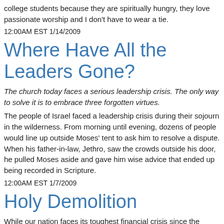college students because they are spiritually hungry, they love passionate worship and I don't have to wear a tie.
12:00AM EST 1/14/2009
Where Have All the Leaders Gone?
The church today faces a serious leadership crisis. The only way to solve it is to embrace three forgotten virtues.
The people of Israel faced a leadership crisis during their sojourn in the wilderness. From morning until evening, dozens of people would line up outside Moses' tent to ask him to resolve a dispute. When his father-in-law, Jethro, saw the crowds outside his door, he pulled Moses aside and gave him wise advice that ended up being recorded in Scripture.
12:00AM EST 1/7/2009
Holy Demolition
While our nation faces its toughest financial crisis since the Great